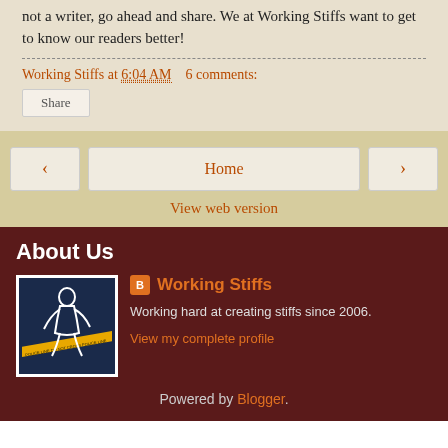not a writer, go ahead and share. We at Working Stiffs want to get to know our readers better!
Working Stiffs at 6:04 AM   6 comments:
Share
Home
View web version
About Us
[Figure (illustration): Crime scene outline illustration of a chalk body outline with police tape on a dark blue background]
Working Stiffs
Working hard at creating stiffs since 2006.
View my complete profile
Powered by Blogger.